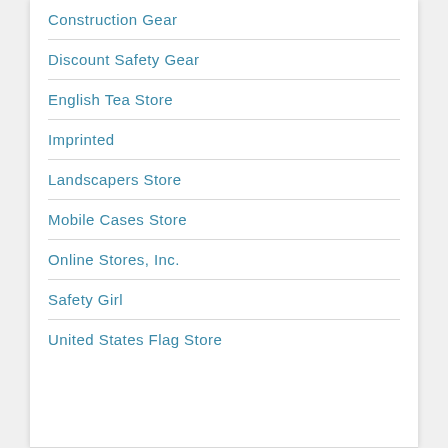Construction Gear
Discount Safety Gear
English Tea Store
Imprinted
Landscapers Store
Mobile Cases Store
Online Stores, Inc.
Safety Girl
United States Flag Store